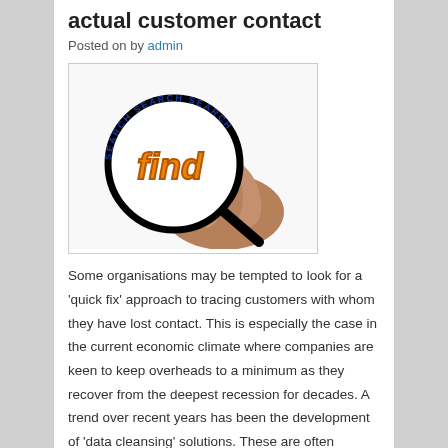actual customer contact
Posted on by admin
[Figure (photo): A hand holding a magnifying glass with the word 'find' in orange 3D letters inside the lens, surrounded by the text 'SEARCH SEARCH SEARCH' in blue around the circle of the magnifying glass.]
Some organisations may be tempted to look for a 'quick fix' approach to tracing customers with whom they have lost contact. This is especially the case in the current economic climate where companies are keen to keep overheads to a minimum as they recover from the deepest recession for decades. A trend over recent years has been the development of 'data cleansing' solutions. These are often referred to as 'light touch' indicators of where an individual customer may currently be living. This